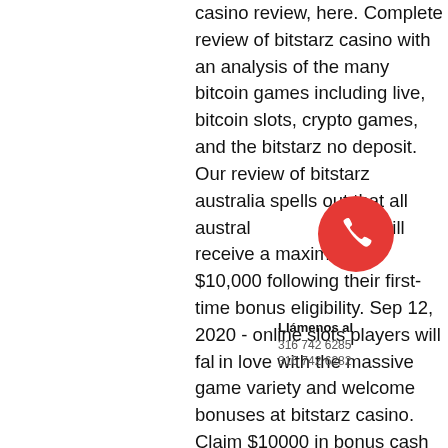casino review, here. Complete review of bitstarz casino with an analysis of the many bitcoin games including live, bitcoin slots, crypto games, and the bitstarz no deposit. Our review of bitstarz australia spells out that all australian players will receive a maximum of $10,000 following their first-time bonus eligibility. Sep 12, 2020 - online slots players will fall in love with the massive game variety and welcome bonuses at bitstarz casino. Claim $10000 in bonus cash today. Bitstarz casino review &amp; ratings by casinova. The owners' honesty; terms and conditions transparency; loyalty to the players. Bitstarz meets all these. Bitstarz mobile review → bitstarz casino best online casino safe &amp; legit, scam to sign up? ► read trusted reviews &amp; ratings. Read bitstarz billion slot review developed by bgaming or play this slot demo for free rigt now! just click the site! The exceptional and strong platform powered by softswiss guarantees high-
[Figure (infographic): Red circular phone icon overlay with 'Llámenos al' label and phone numbers 316 742 6285 and 316 742 6282]
[Figure (infographic): Red circular map pin icon overlay with 'Encuéntrenos' label]
[Figure (infographic): Red rounded rectangle button with text 'Nosotros le llamamos']
Barranquilla 316 742 6249
Medellín 316 762 6299